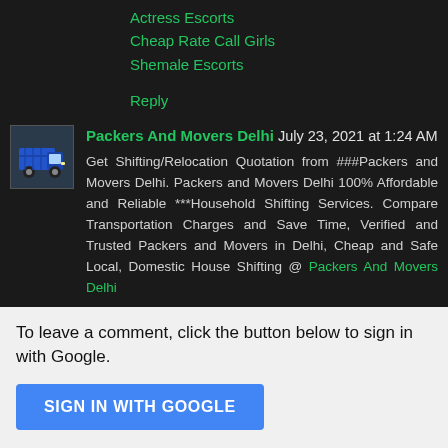Actress Escorts
Cheap Rate Call Girls
Shemale Escorts
Reply
Packers And Movers Delhi July 23, 2021 at 1:24 AM
Get Shifting/Relocation Quotation from ###Packers and Movers Delhi. Packers and Movers Delhi 100% Affordable and Reliable ***Household Shifting Services. Compare Transportation Charges and Save Time, Verified and Trusted Packers and Movers in Delhi, Cheap and Safe Local, Domestic House Shifting @ Packers And Movers Delhi
Reply
To leave a comment, click the button below to sign in with Google.
SIGN IN WITH GOOGLE